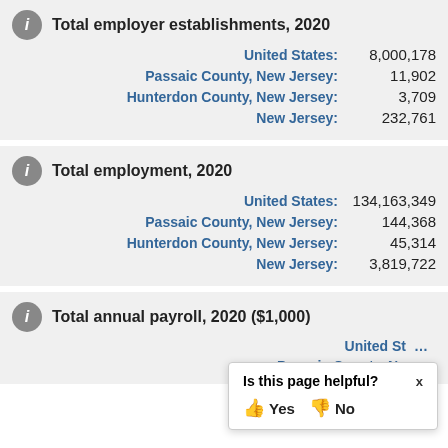| Location | Value |
| --- | --- |
| United States: | 8,000,178 |
| Passaic County, New Jersey: | 11,902 |
| Hunterdon County, New Jersey: | 3,709 |
| New Jersey: | 232,761 |
| Location | Value |
| --- | --- |
| United States: | 134,163,349 |
| Passaic County, New Jersey: | 144,368 |
| Hunterdon County, New Jersey: | 45,314 |
| New Jersey: | 3,819,722 |
| Location | Value |
| --- | --- |
| United States: | (partially obscured) |
| Passaic County, New Jersey: | (partially obscured) |
Is this page helpful? Yes / No (popup overlay)